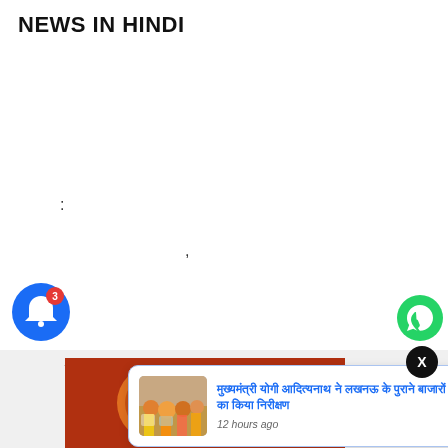NEWS IN HINDI
:
,
/
[Figure (screenshot): Advertisement banner with pizza image and NOW button]
[Figure (infographic): Notification bell icon with badge count 3]
[Figure (infographic): Black X close button circle]
[Figure (screenshot): Notification popup card with thumbnail of people at market, Hindi headline text in blue, and '12 hours ago' timestamp]